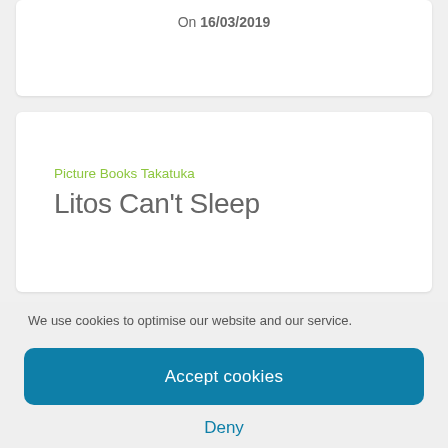On 16/03/2019
Picture Books Takatuka
Litos Can't Sleep
We use cookies to optimise our website and our service.
Accept cookies
Deny
View preferences
Cookie Policy   Datenschutz